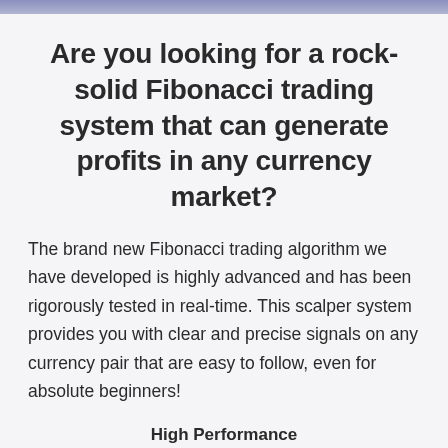Are you looking for a rock-solid Fibonacci trading system that can generate profits in any currency market?
The brand new Fibonacci trading algorithm we have developed is highly advanced and has been rigorously tested in real-time. This scalper system provides you with clear and precise signals on any currency pair that are easy to follow, even for absolute beginners!
High Performance